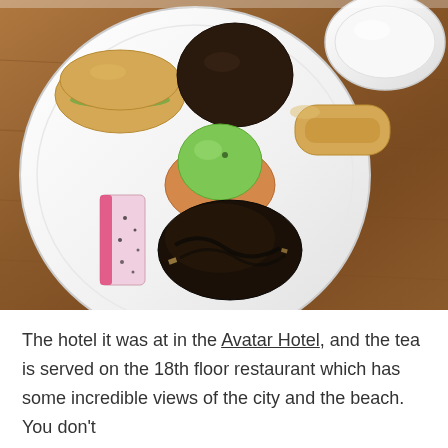[Figure (photo): Overhead photo of a white plate on a wooden table with assorted pastries and desserts: sandwich rolls, a dark chocolate bun, a green macaron on a cookie, an eclair, a chocolate glazed item, and a slice of dragon fruit. A white cup is partially visible in the top right corner.]
The hotel it was at in the Avatar Hotel, and the tea is served on the 18th floor restaurant which has some incredible views of the city and the beach. You don't